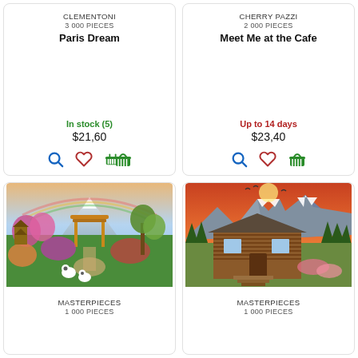CLEMENTONI
3 000 PIECES
Paris Dream
In stock (5)
$21,60
CHERRY PAZZI
2 000 PIECES
Meet Me at the Cafe
Up to 14 days
$23,40
[Figure (photo): Colorful Japanese garden with torii gate, panda bears, flowers, Mount Fuji in background]
MASTERPIECES
1 000 PIECES
[Figure (photo): Rustic log cabin in mountain landscape with orange sunset sky and pine trees]
MASTERPIECES
1 000 PIECES